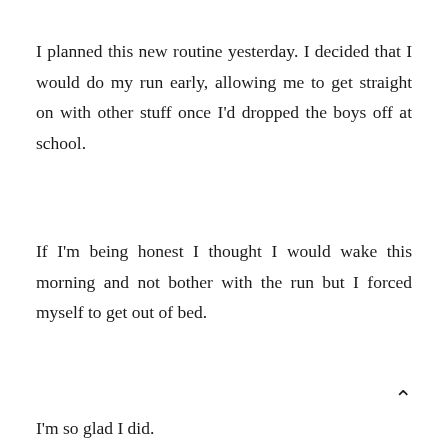I planned this new routine yesterday. I decided that I would do my run early, allowing me to get straight on with other stuff once I'd dropped the boys off at school.
If I'm being honest I thought I would wake this morning and not bother with the run but I forced myself to get out of bed.
I'm so glad I did.